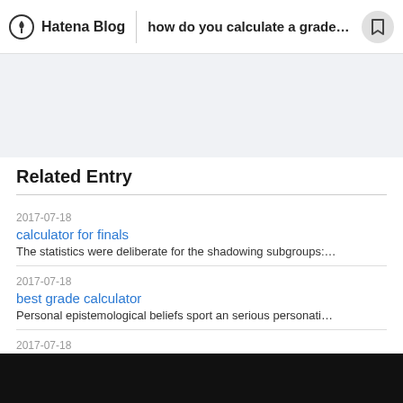Hatena Blog | how do you calculate a grade on a...
Related Entry
2017-07-18
calculator for finals
The statistics were deliberate for the shadowing subgroups:…
2017-07-18
best grade calculator
Personal epistemological beliefs sport an serious personati…
2017-07-18
online grade calculator weighted
This is much than tongued loudly enough to be heard and pro…